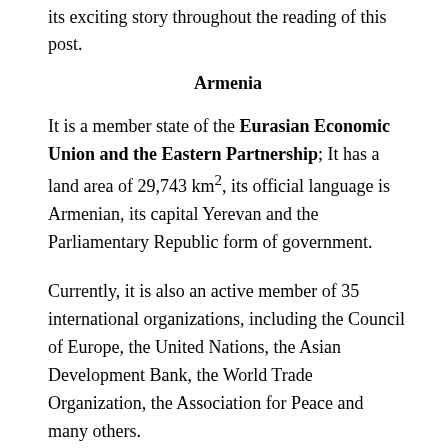its exciting story throughout the reading of this post.
Armenia
It is a member state of the Eurasian Economic Union and the Eastern Partnership; It has a land area of 29,743 km², its official language is Armenian, its capital Yerevan and the Parliamentary Republic form of government.
Currently, it is also an active member of 35 international organizations, including the Council of Europe, the United Nations, the Asian Development Bank, the World Trade Organization, the Association for Peace and many others.
Historical overview of Armenia